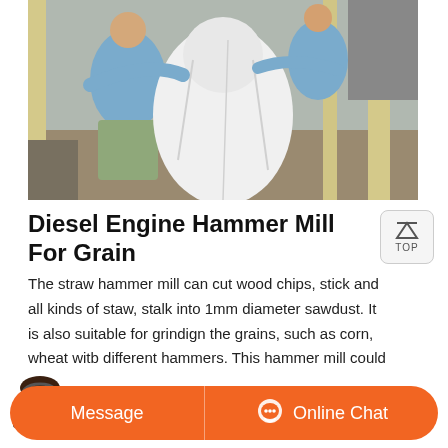[Figure (photo): Two workers in blue shirts handling a large white fabric sack or bag in an industrial/warehouse setting with beige pillars visible in the background]
Diesel Engine Hammer Mill For Grain
The straw hammer mill can cut wood chips, stick and all kinds of staw, stalk into 1mm diameter sawdust. It is also suitable for grindign the grains, such as corn, wheat witb different hammers. This hammer mill could be driven by diesel or motor. Main data
[Figure (photo): Customer service representative with headset (partially visible at bottom of page) with orange Message and Online Chat buttons]